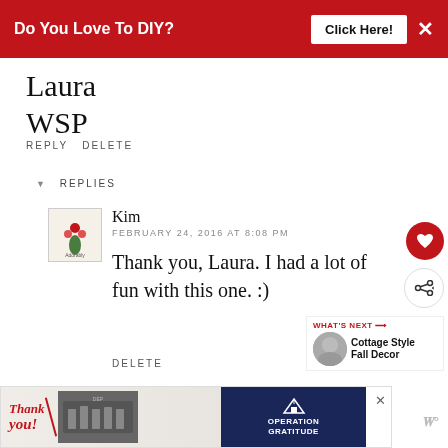[Figure (screenshot): Red advertisement banner at top: 'Do You Love To DIY? Click Here!' with X close button]
Laura
WSP
REPLY DELETE
▾ REPLIES
[Figure (logo): Small blog avatar logo with flowers (Adorably Domesticated)]
Kim
FEBRUARY 24, 2016 AT 8:08 PM
Thank you, Laura. I had a lot of fun with this one. :)
DELETE
WHAT'S NEXT → Cottage Style Fall Decor
REPLY
[Figure (screenshot): Bottom advertisement banner: 'Thank you!' with Operation Gratitude firefighters photo]